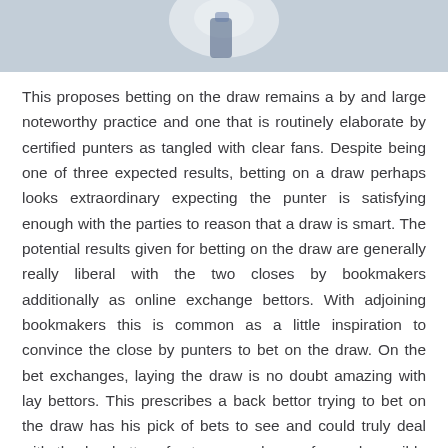[Figure (photo): Sports action photo strip at top of page, partially visible, showing a player with blurred motion against a bright background]
This proposes betting on the draw remains a by and large noteworthy practice and one that is routinely elaborate by certified punters as tangled with clear fans. Despite being one of three expected results, betting on a draw perhaps looks extraordinary expecting the punter is satisfying enough with the parties to reason that a draw is smart. The potential results given for betting on the draw are generally really liberal with the two closes by bookmakers additionally as online exchange bettors. With adjoining bookmakers this is common as a little inspiration to convince the close by punters to bet on the draw. On the bet exchanges, laying the draw is no doubt amazing with lay bettors. This prescribes a back bettor trying to bet on the draw has his pick of bets to see and could truly deal with the lay bettors for to some degree favored possible results over those at first high level.